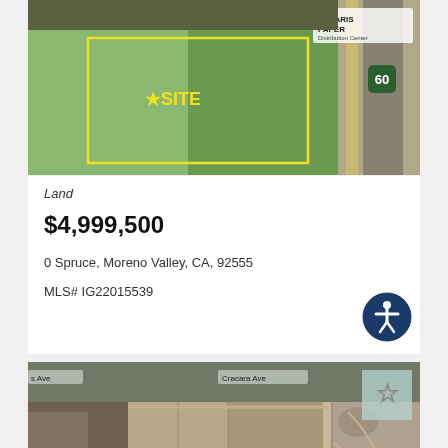[Figure (photo): Aerial view of a green agricultural land parcel labeled with a yellow star and 'SITE' text, with Highway 60 visible on the right side. Solaris Paper Distribution Center visible in top right corner. Land is outlined in yellow.]
Land
$4,999,500
0 Spruce, Moreno Valley, CA, 92555
MLS# IG22015539
[Figure (photo): Aerial satellite view of large flat agricultural land parcels with dirt roads and paths, residential area visible on left edge, rocky/mountainous terrain on right side. Street label reading 'Cracara Ave' visible near top.]